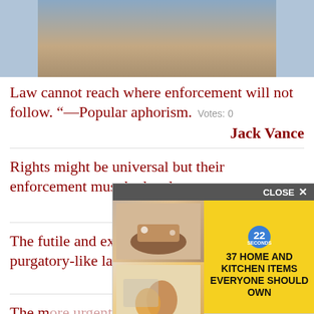[Figure (photo): Partial photo of a person in a blue shirt in a kitchen setting]
Law cannot reach where enforcement will not follow. "—Popular aphorism.  Votes: 0
Jack Vance
Rights might be universal but their enforcement must be local.  Votes: 0
Murray Rothbard
The futile and exhausting existence of a purgatory-like law enforcement system  Votes: 0
Mike
The m... enforcement...  Votes: 0
[Figure (photo): Advertisement overlay: 37 Home and Kitchen Items Everyone Should Own, with food/drink images, yellow background, close button]